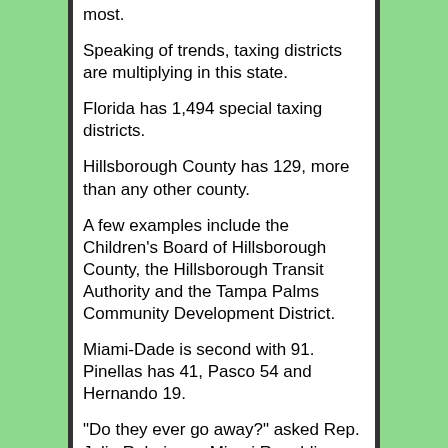most.
Speaking of trends, taxing districts are multiplying in this state.
Florida has 1,494 special taxing districts.
Hillsborough County has 129, more than any other county.
A few examples include the Children's Board of Hillsborough County, the Hillsborough Transit Authority and the Tampa Palms Community Development District.
Miami-Dade is second with 91. Pinellas has 41, Pasco 54 and Hernando 19.
"Do they ever go away?" asked Rep. Julio Robaina, a Miami Republican who chairs the House Committee on Urban and Local Affairs.
(Answer: Yes. Occasionally).
But here's the fascinating part: In seeking to double Florida's homestead exemption to $50,000, Gov.